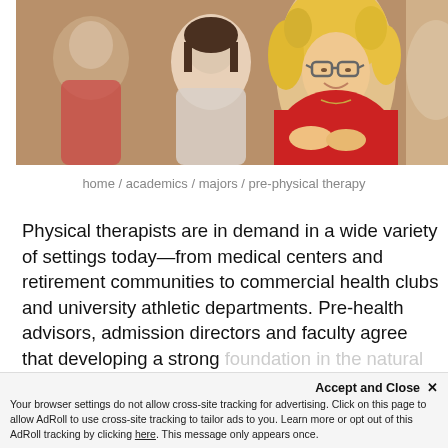[Figure (photo): Students sitting in a classroom; a smiling young woman with curly blonde hair and glasses wearing a red sweatshirt is in the foreground, with other students visible in the background.]
home / academics / majors / pre-physical therapy
Physical therapists are in demand in a wide variety of settings today—from medical centers and retirement communities to commercial health clubs and university athletic departments. Pre-health advisors, admission directors and faculty agree that developing a strong foundation in the natural and social science
Accept and Close ✕
Your browser settings do not allow cross-site tracking for advertising. Click on this page to allow AdRoll to use cross-site tracking to tailor ads to you. Learn more or opt out of this AdRoll tracking by clicking here. This message only appears once.